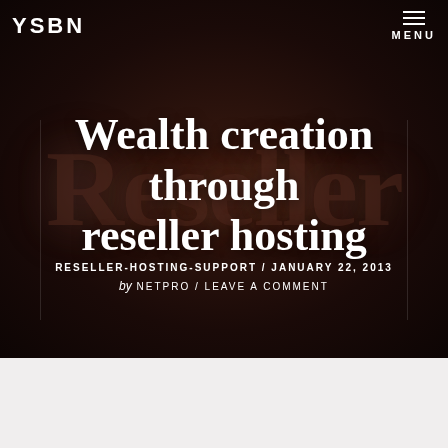YSBN
Wealth creation through reseller hosting
RESELLER-HOSTING-SUPPORT / JANUARY 22, 2013 by NETPRO / LEAVE A COMMENT